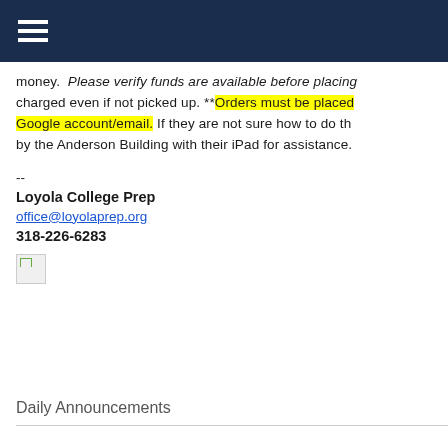Navigation bar with hamburger menu
money.  Please verify funds are available before placing charged even if not picked up. **Orders must be placed Google account/email. If they are not sure how to do th by the Anderson Building with their iPad for assistance.
--
Loyola College Prep
office@loyolaprep.org
318-226-6283
[Figure (illustration): Broken image placeholder icon]
Daily Announcements